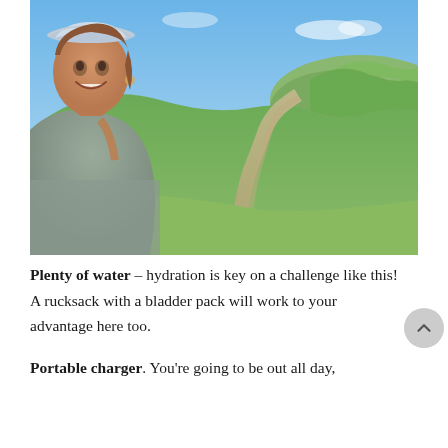[Figure (photo): A woman wearing a grey tank top and light blue hat takes a selfie outdoors on a sunny day. Behind her is a scenic landscape with green rolling hills and a stone path leading into the distance under a blue sky.]
Plenty of water – hydration is key on a challenge like this! A rucksack with a bladder pack will work to your advantage here too.
Portable charger. You're going to be out all day,